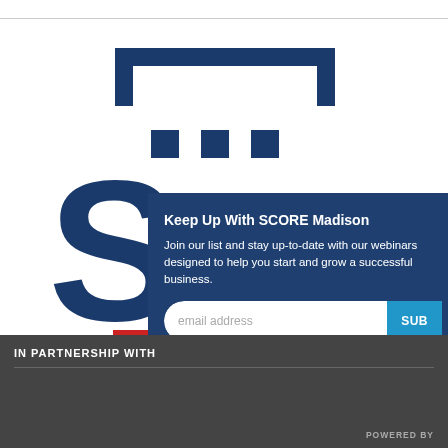[Figure (logo): SCORE Madison logo with dark navy bracket shape, large dark blue letter S, and red rectangle accent at bottom]
Keep Up With SCORE Madison
Join our list and stay up-to-date with our webinars designed to help you start and grow a successful business.
email address
SUB
IN PARTNERSHIP WITH
POWERED BY